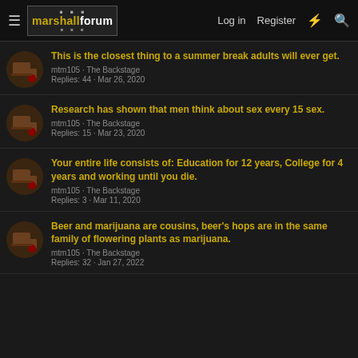marshallforum | Log in | Register
This is the closest thing to a summer break adults will ever get.
mtm105 · The Backstage
Replies: 44 · Mar 26, 2020
Research has shown that men think about sex every 15 sex.
mtm105 · The Backstage
Replies: 15 · Mar 23, 2020
Your entire life consists of: Education for 12 years, College for 4 years and working until you die.
mtm105 · The Backstage
Replies: 3 · Mar 11, 2020
Beer and marijuana are cousins, beer's hops are in the same family of flowering plants as marijuana.
mtm105 · The Backstage
Replies: 32 · Jan 27, 2022